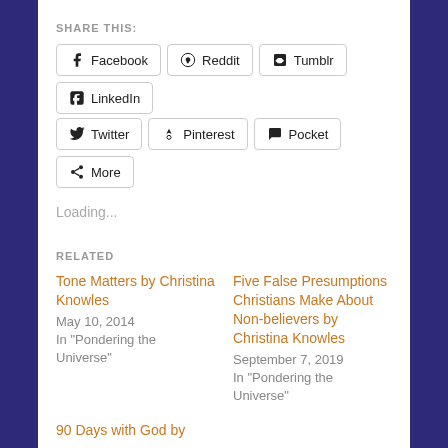SHARE THIS:
Facebook
Reddit
Tumblr
LinkedIn
Twitter
Pinterest
Pocket
More
Loading...
RELATED
Tone Matters by Christina Knowles
May 10, 2014
In "Pondering the Universe"
Five False Presumptions Christians Make About Non-believers by Christina Knowles
September 7, 2019
In "Pondering the Universe"
90 Days with God by